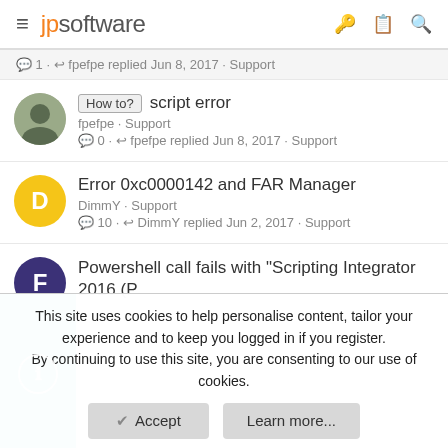jpsoftware
1 · fpefpe replied Jun 8, 2017 · Support
How to? script error
fpefpe · Support
0 · fpefpe replied Jun 8, 2017 · Support
Error 0xc0000142 and FAR Manager
DimmY · Support
10 · DimmY replied Jun 2, 2017 · Support
Powershell call fails with "Scripting Integrator 2016 (PowerShell)"...
This site uses cookies to help personalise content, tailor your experience and to keep you logged in if you register.
By continuing to use this site, you are consenting to our use of cookies.